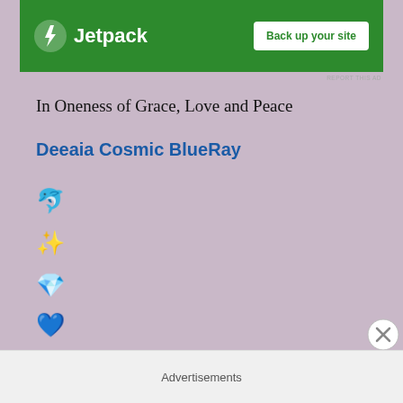[Figure (screenshot): Jetpack advertisement banner with green background, lightning bolt logo, and 'Back up your site' button]
REPORT THIS AD
In Oneness of Grace, Love and Peace
Deeaia Cosmic BlueRay
🐬
✨
💎
💙
💧
Advertisements